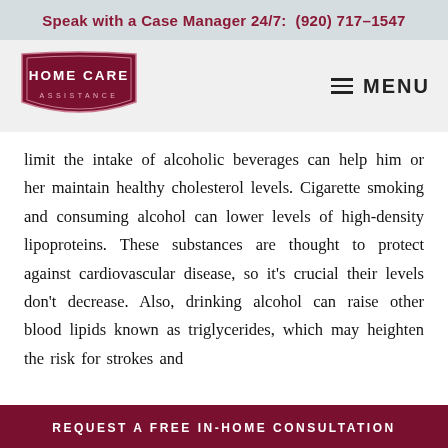Speak with a Case Manager 24/7:  (920) 717–1547
[Figure (logo): Home Care Assistance logo — dark red shield/badge shape with text HOME CARE ASSISTANCE]
≡ MENU
limit the intake of alcoholic beverages can help him or her maintain healthy cholesterol levels. Cigarette smoking and consuming alcohol can lower levels of high-density lipoproteins. These substances are thought to protect against cardiovascular disease, so it's crucial their levels don't decrease. Also, drinking alcohol can raise other blood lipids known as triglycerides, which may heighten the risk for strokes and
REQUEST A FREE IN-HOME CONSULTATION